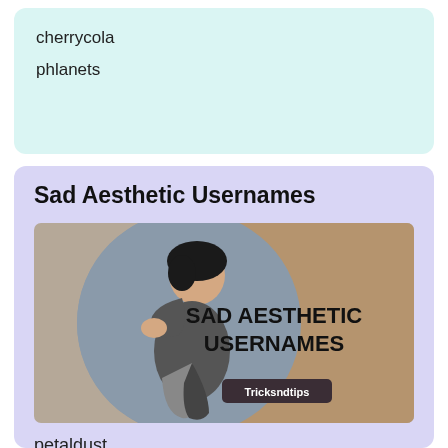cherrycola
phlanets
Sad Aesthetic Usernames
[Figure (illustration): Thumbnail image showing a sad person with head in hands on a grey-blue circular background, with brown right half and bold text 'SAD AESTHETIC USERNAMES' and 'Tricksndtips' badge]
petaldust